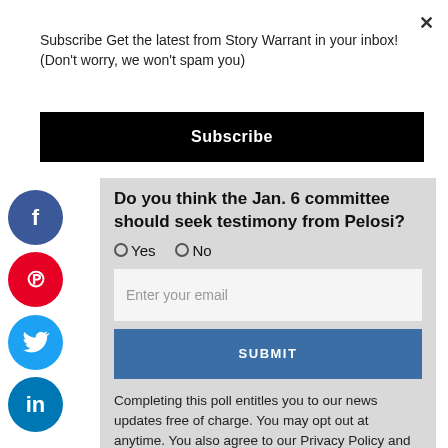Subscribe Get the latest from Story Warrant in your inbox! (Don't worry, we won't spam you)
Subscribe
Do you think the Jan. 6 committee should seek testimony from Pelosi?
Yes  No
Enter your email
SUBMIT
Completing this poll entitles you to our news updates free of charge. You may opt out at anytime. You also agree to our Privacy Policy and Terms of Use.